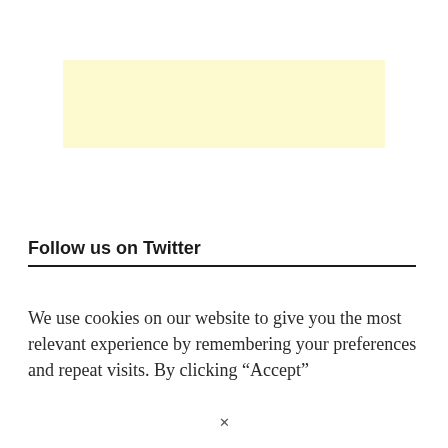[Figure (other): A light yellow rectangular banner/advertisement placeholder with no visible text or image content.]
Follow us on Twitter
We use cookies on our website to give you the most relevant experience by remembering your preferences and repeat visits. By clicking “Accept”